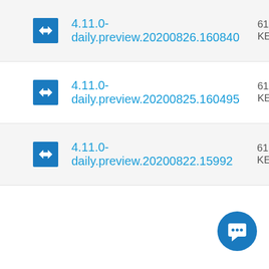4.11.0-daily.preview.20200826.160840
4.11.0-daily.preview.20200825.160495
4.11.0-daily.preview.20200822.15992...